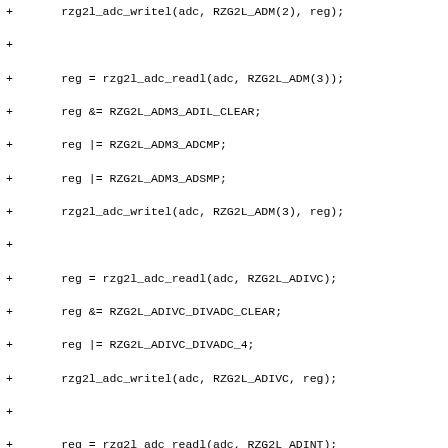+		rzg2l_adc_writel(adc, RZG2L_ADM(2), reg);
+
+		reg = rzg2l_adc_readl(adc, RZG2L_ADM(3));
+		reg &= RZG2L_ADM3_ADIL_CLEAR;
+		reg |= RZG2L_ADM3_ADCMP;
+		reg |= RZG2L_ADM3_ADSMP;
+		rzg2l_adc_writel(adc, RZG2L_ADM(3), reg);
+
+		reg = rzg2l_adc_readl(adc, RZG2L_ADIVC);
+		reg &= RZG2L_ADIVC_DIVADC_CLEAR;
+		reg |= RZG2L_ADIVC_DIVADC_4;
+		rzg2l_adc_writel(adc, RZG2L_ADIVC, reg);
+
+		reg = rzg2l_adc_readl(adc, RZG2L_ADINT);
+		reg &= ~RZG2L_ADINT_INTS;
+		reg &= RZG2L_ADINT_CH_CLEAR;
+		reg |= RZG2L_ADINT_CSEEN;
+		reg |= BIT(ch);
+		rzg2l_adc_writel(adc, RZG2L_ADINT, reg);
+
+		return 0;
+}
+
+static int rzg2l_adc_set_power(struct iio_dev *indio_dev, bool on)
+{
+		struct device *dev = indio_dev->dev.parent;
+
+		if (on)
+			return pm_runtime_resume_and_get(dev);